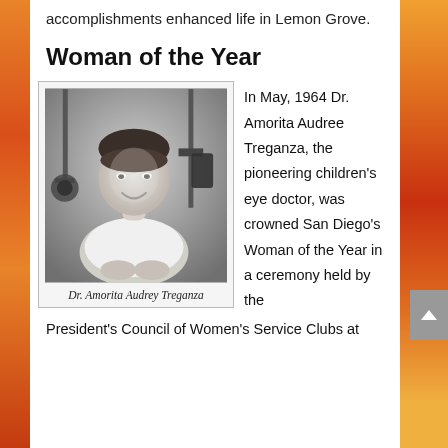accomplishments enhanced life in Lemon Grove.
Woman of the Year
[Figure (photo): Black and white photograph of Dr. Amorita Audrey Treganza, a woman smiling, seated in what appears to be a medical or scientific setting with equipment visible in the background. She is wearing a white sleeveless top.]
Dr. Amorita Audrey Treganza
In May, 1964 Dr. Amorita Audree Treganza, the pioneering children's eye doctor, was crowned San Diego's Woman of the Year in a ceremony held by the
President's Council of Women's Service Clubs at